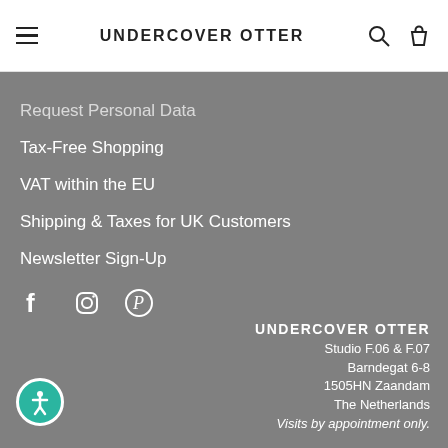UNDERCOVER OTTER
Request Personal Data
Tax-Free Shopping
VAT within the EU
Shipping & Taxes for UK Customers
Newsletter Sign-Up
[Figure (infographic): Social media icons: Facebook, Instagram, Pinterest]
UNDERCOVER OTTER
Studio F.06 & F.07
Barndegat 6-8
1505HN Zaandam
The Netherlands
Visits by appointment only.